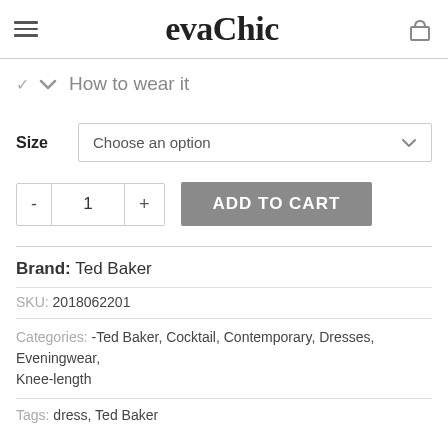evaChic
How to wear it
Size  Choose an option
- 1 + ADD TO CART
Brand: Ted Baker
SKU: 2018062201
Categories: -Ted Baker, Cocktail, Contemporary, Dresses, Eveningwear, Knee-length
Tags: dress, Ted Baker